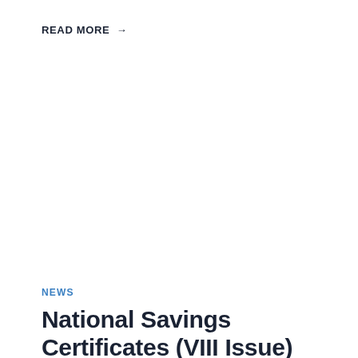READ MORE →
NEWS
National Savings Certificates (VIII Issue) and Kisan Vikas